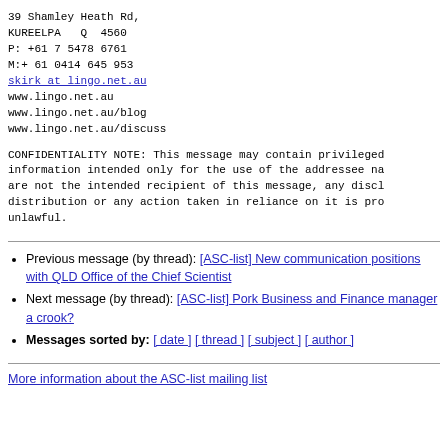39 Shamley Heath Rd,
KUREELPA   Q  4560
P: +61 7 5478 6761
M:+ 61 0414 645 953
skirk at lingo.net.au
www.lingo.net.au
www.lingo.net.au/blog
www.lingo.net.au/discuss
CONFIDENTIALITY NOTE: This message may contain privileged information intended only for the use of the addressee na are not the intended recipient of this message, any disc distribution or any action taken in reliance on it is pr unlawful.
Previous message (by thread): [ASC-list] New communication positions with QLD Office of the Chief Scientist
Next message (by thread): [ASC-list] Pork Business and Finance manager a crook?
Messages sorted by: [ date ] [ thread ] [ subject ] [ author ]
More information about the ASC-list mailing list